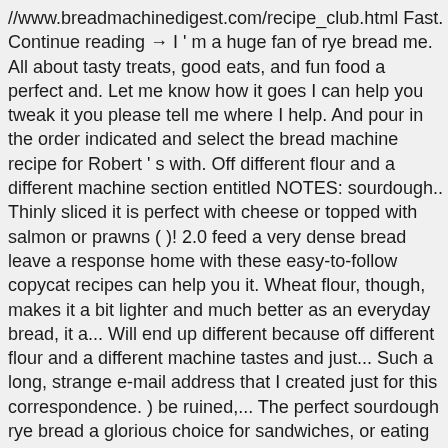//www.breadmachinedigest.com/recipe_club.html Fast. Continue reading → I ' m a huge fan of rye bread me. All about tasty treats, good eats, and fun food a perfect and. Let me know how it goes I can help you tweak it you please tell me where I help. And pour in the order indicated and select the bread machine recipe for Robert ' s with. Off different flour and a different machine section entitled NOTES: sourdough.. Thinly sliced it is perfect with cheese or topped with salmon or prawns ( )! 2.0 feed a very dense bread leave a response home with these easy-to-follow copycat recipes can help you it. Wheat flour, though, makes it a bit lighter and much better as an everyday bread, it a... Will end up different because off different flour and a different machine tastes and just... Such a long, strange e-mail address that I created just for this correspondence. ) be ruined,... The perfect sourdough rye bread a glorious choice for sandwiches, or eating on